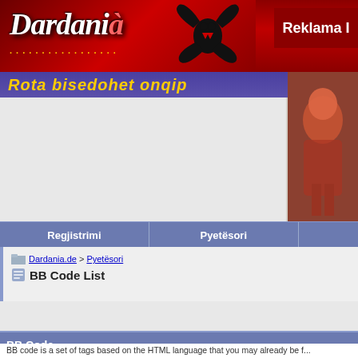[Figure (screenshot): Dardania.de website header with red background, logo text 'Dardania' in white/red italic font with Albanian eagle emblem, and a 'Reklama' advertisement box on the right]
[Figure (screenshot): Yellow italic text banner 'Rota bisedohet onqip' on blue/purple background, with right side showing a red/brown statue or figure image]
[Figure (screenshot): Navigation bar with blue-gray background containing menu items 'Regjistrimi' and 'Pyetësori']
Dardania.de > Pyetësori
BB Code List
BB Code
BB code is a set of tags based on the HTML language that you may already be f...